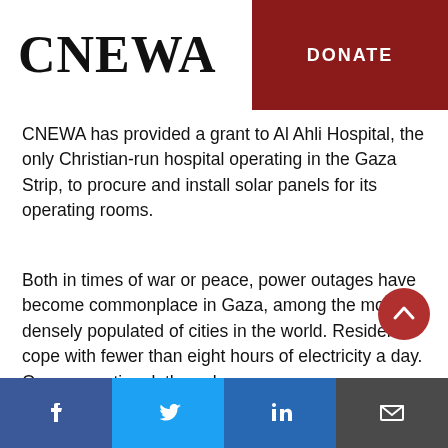CNEWA
DONATE
CNEWA has provided a grant to Al Ahli Hospital, the only Christian-run hospital operating in the Gaza Strip, to procure and install solar panels for its operating rooms.
Both in times of war or peace, power outages have become commonplace in Gaza, among the most densely populated of cities in the world. Residents cope with fewer than eight hours of electricity a day. Once operational, the solar
Facebook | Twitter | LinkedIn | Email